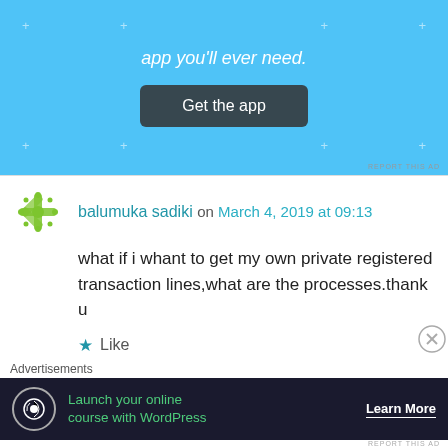[Figure (screenshot): Blue ad banner with text 'app you'll ever need.' and a dark 'Get the app' button]
balumuka sadiki on March 4, 2019 at 09:13
what if i whant to get my own private registered transaction lines,what are the processes.thank u
Like
Reply
James Wire on March 4, 2019 at 10:51
Advertisements
[Figure (screenshot): Dark ad banner: 'Launch your online course with WordPress' with Learn More button]